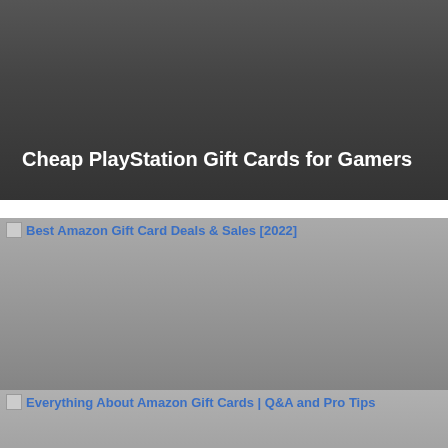[Figure (photo): Dark gray gradient card image for Cheap PlayStation Gift Cards for Gamers article]
Cheap PlayStation Gift Cards for Gamers
[Figure (photo): Gray gradient card image for Best Amazon Gift Card Deals & Sales [2022] article with broken image icon at top and link text]
Best Amazon Gift Card Deals & Sales [2022]
[Figure (photo): Gray gradient card image for Everything About Amazon Gift Cards | Q&A and Pro Tips article with broken image icon and scroll-to-top button]